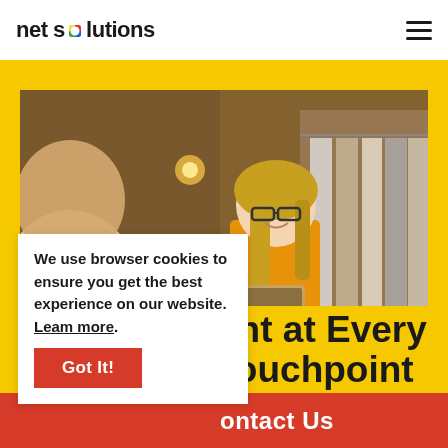[Figure (logo): Net Solutions logo with colorful 'o' dot in 'solutions']
[Figure (photo): A smiling blonde woman wearing glasses and a yellow top, holding a tablet, standing in a retail clothing store. A customer is partially visible in the foreground.]
We use browser cookies to ensure you get the best experience on our website. Learn more.
Got It!
ght at Every Touchpoint
ontact Us